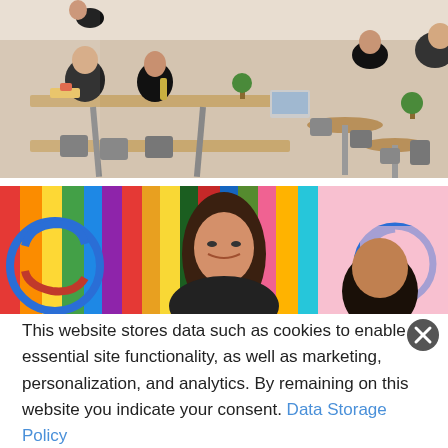[Figure (photo): People sitting at long wooden tables in a modern coworking cafe space, working and socializing. Warm interior with natural light.]
[Figure (photo): Woman with dark hair in front of a colorful vertical striped wall with a circular logo/sign. Another person visible on the right.]
This website stores data such as cookies to enable essential site functionality, as well as marketing, personalization, and analytics. By remaining on this website you indicate your consent. Data Storage Policy